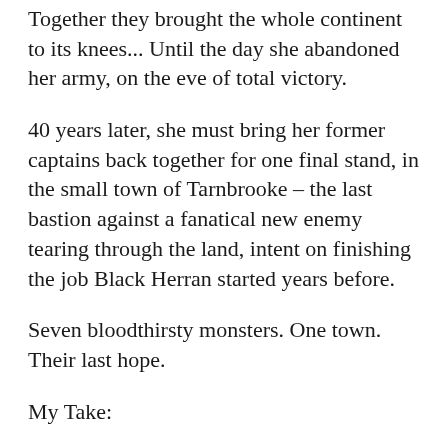Together they brought the whole continent to its knees... Until the day she abandoned her army, on the eve of total victory.
40 years later, she must bring her former captains back together for one final stand, in the small town of Tarnbrooke – the last bastion against a fanatical new enemy tearing through the land, intent on finishing the job Black Herran started years before.
Seven bloodthirsty monsters. One town. Their last hope.
My Take:
I turned 45 while reading this book... My left hip hurts and stay-at-home orders haver done a number on my waist. I can't say that I'm ready to fight! But Black Herran is. Yep